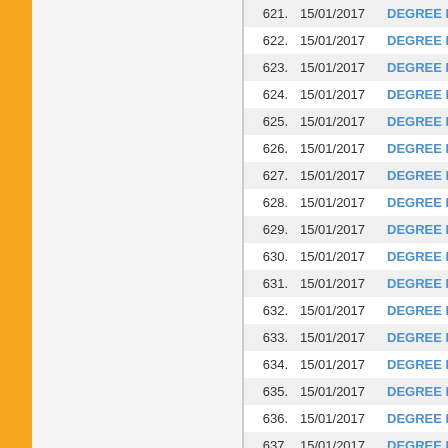| # | Date | Document |
| --- | --- | --- |
| 621. | 15/01/2017 | DEGREE MI |
| 622. | 15/01/2017 | DEGREE MI |
| 623. | 15/01/2017 | DEGREE MI |
| 624. | 15/01/2017 | DEGREE MI |
| 625. | 15/01/2017 | DEGREE MI |
| 626. | 15/01/2017 | DEGREE MI |
| 627. | 15/01/2017 | DEGREE MI |
| 628. | 15/01/2017 | DEGREE MI |
| 629. | 15/01/2017 | DEGREE MI |
| 630. | 15/01/2017 | DEGREE MI |
| 631. | 15/01/2017 | DEGREE MI |
| 632. | 15/01/2017 | DEGREE MI |
| 633. | 15/01/2017 | DEGREE MI |
| 634. | 15/01/2017 | DEGREE MI |
| 635. | 15/01/2017 | DEGREE MI |
| 636. | 15/01/2017 | DEGREE MI |
| 637. | 15/01/2017 | DEGREE MI |